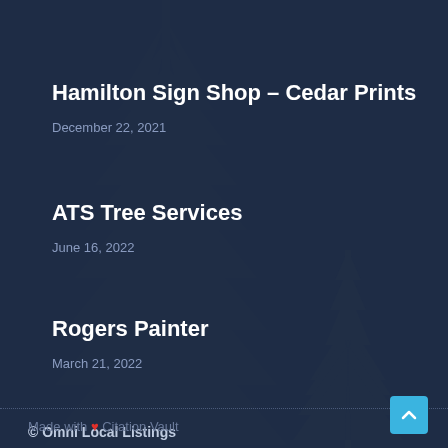[Figure (illustration): Dark navy blue background with faint tree (conifer/fir) silhouettes overlaid]
Hamilton Sign Shop – Cedar Prints
December 22, 2021
ATS Tree Services
June 16, 2022
Rogers Painter
March 21, 2022
© Omni Local Listings
Made with ❤ Citation Vault